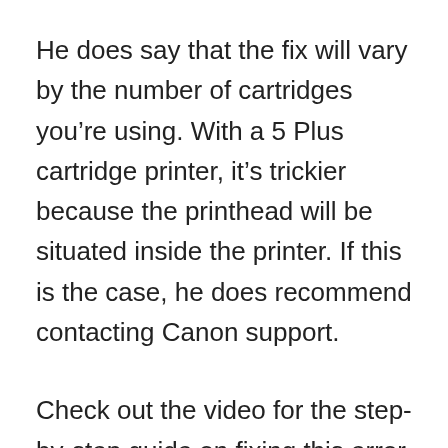He does say that the fix will vary by the number of cartridges you’re using. With a 5 Plus cartridge printer, it’s trickier because the printhead will be situated inside the printer. If this is the case, he does recommend contacting Canon support.
Check out the video for the step-by-step guide on fixing this error.
YouTube Commentator Fix